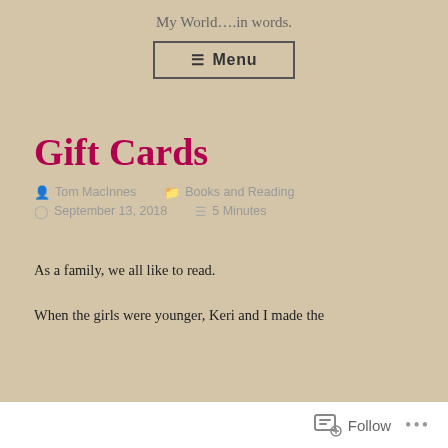My World….in words.
☰ Menu
Gift Cards
Tom MacInnes   Books and Reading   September 13, 2018   5 Minutes
As a family, we all like to read.
When the girls were younger, Keri and I made the